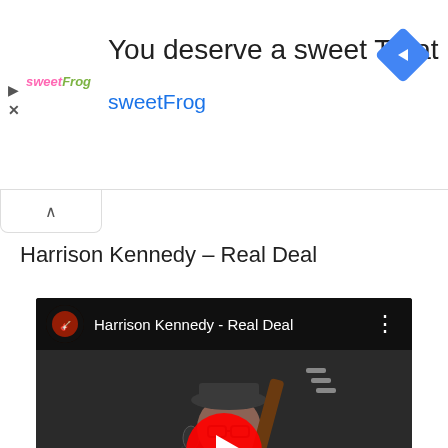[Figure (screenshot): Advertisement banner for sweetFrog frozen yogurt. Logo on left, headline 'You deserve a sweet Treat', brand name 'sweetFrog' in blue, navigation diamond icon on right. Play and X icons on far left.]
Harrison Kennedy – Real Deal
[Figure (screenshot): YouTube video thumbnail showing Harrison Kennedy playing mandolin/guitar on stage with a hat and glasses. Red YouTube play button overlay in center. Channel icon and video title 'Harrison Kennedy - Real Deal' shown in top bar. Three-dot menu on right.]